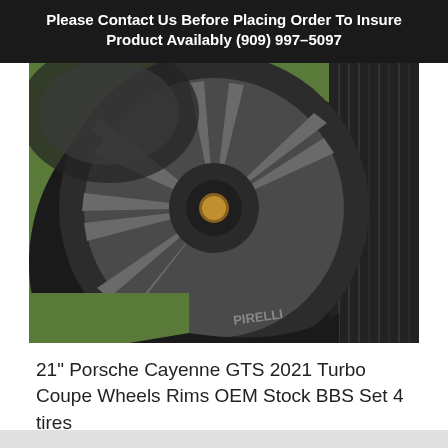Please Contact Us Before Placing Order To Insure Product Availably (909) 997-5097
[Figure (photo): Close-up photo of a Porsche Cayenne alloy wheel rim with Pirelli tire, set on green grass background]
21" Porsche Cayenne GTS 2021 Turbo Coupe Wheels Rims OEM Stock BBS Set 4 tires
$4,989.00